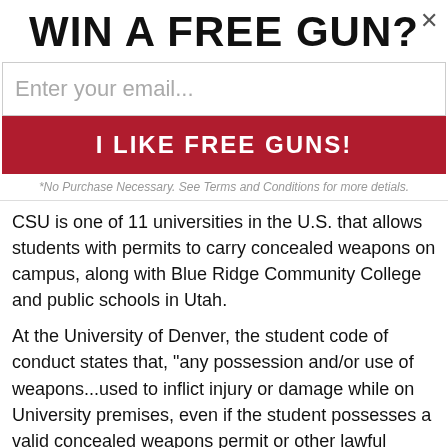WIN A FREE GUN?
Enter your email...
I LIKE FREE GUNS!
*No Purchase Necessary. See Terms and Conditions for more detials.
CSU is one of 11 universities in the U.S. that allows students with permits to carry concealed weapons on campus, along with Blue Ridge Community College and public schools in Utah.
At the University of Denver, the student code of conduct states that, "any possession and/or use of weapons...used to inflict injury or damage while on University premises, even if the student possesses a valid concealed weapons permit or other lawful permission to carry a weapon [is prohibited]."
DU is not currently looking at reexamining the existing policy.
"I am comfortable with our existing policy, particularly in the